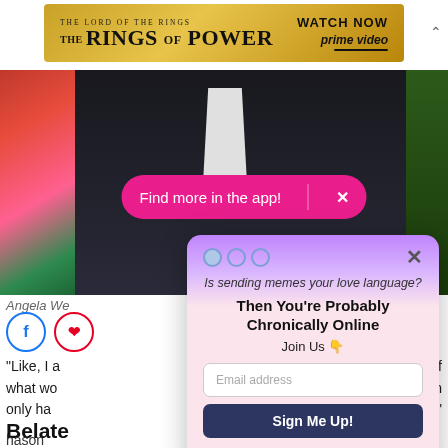[Figure (screenshot): Advertisement banner for 'The Lord of the Rings: The Rings of Power' on Prime Video with gold background and 'Watch Now' call to action]
[Figure (photo): Photo of a man in a black tuxedo/suit with pink roses on the left side and green foliage on the right]
Find more in the app!  ×
Angela We
"Like, I a ... of what wo can only ha ."
Belate
[Figure (screenshot): Modal popup dialog with purple-to-pink gradient header. Contains text 'Is sending memes your love language? Then You're Probably Chronically Online Join Us 👇' with email signup form, 'Sign Me Up!' button, and 'No Thanks' link.]